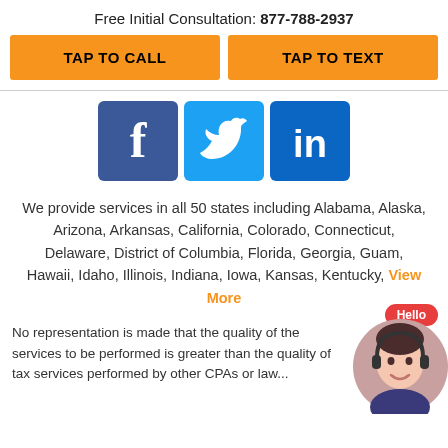Free Initial Consultation: 877-788-2937
TAP TO CALL
TAP TO TEXT
[Figure (logo): Facebook, Twitter, and LinkedIn social media icons in blue square buttons]
We provide services in all 50 states including Alabama, Alaska, Arizona, Arkansas, California, Colorado, Connecticut, Delaware, District of Columbia, Florida, Georgia, Guam, Hawaii, Idaho, Illinois, Indiana, Iowa, Kansas, Kentucky, View More
No representation is made that the quality of the services to be performed is greater than the quality of tax services performed by other CPAs or law...
[Figure (illustration): Chat avatar with Hello bubble and female customer service avatar]